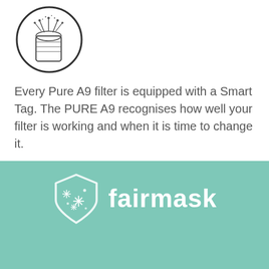[Figure (illustration): Line drawing of a filter canister with antenna-like protrusions at the top, enclosed in a circle]
Every Pure A9 filter is equipped with a Smart Tag. The PURE A9 recognises how well your filter is working and when it is time to change it.
[Figure (logo): Fairmask logo: white shield with star/sparkle icons and the text 'fairmask' on a teal background]
[Figure (illustration): White circular icon with a plus sign, partially visible at the bottom on teal background]